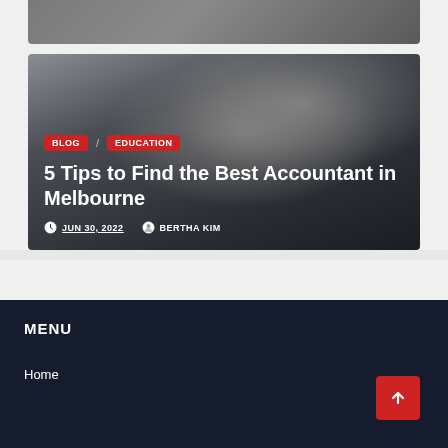[Figure (photo): Partial top image strip showing people in a dark/grey toned scene, cropped at top]
[Figure (photo): Hand holding pen over calculator and financial charts, dark toned background]
BLOG / EDUCATION
5 Tips to Find the Best Accountant in Melbourne
JUN 30, 2022   BERTHA KIM
MENU
Home